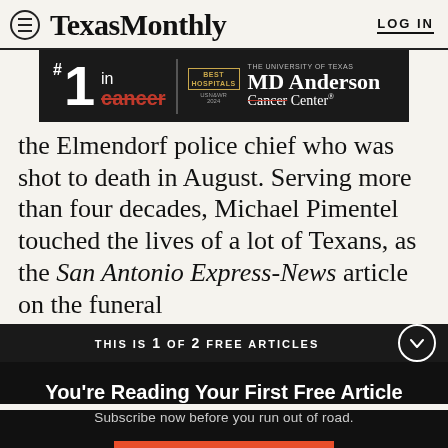Texas Monthly  LOG IN
[Figure (other): MD Anderson Cancer Center advertisement: #1 in cancer with Best Hospitals US News badge]
the Elmendorf police chief who was shot to death in August. Serving more than four decades, Michael Pimentel touched the lives of a lot of Texans, as the San Antonio Express-News article on the funeral
THIS IS 1 OF 2 FREE ARTICLES
You're Reading Your First Free Article
Subscribe now before you run out of road.
SUBSCRIBE NOW
Already a subscriber? Log in